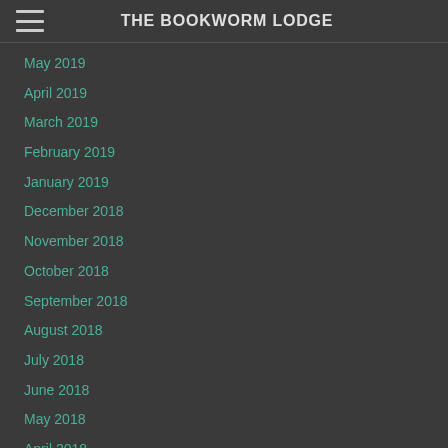THE BOOKWORM LODGE
May 2019
April 2019
March 2019
February 2019
January 2019
December 2018
November 2018
October 2018
September 2018
August 2018
July 2018
June 2018
May 2018
April 2018
March 2018
February 2018
January 2018